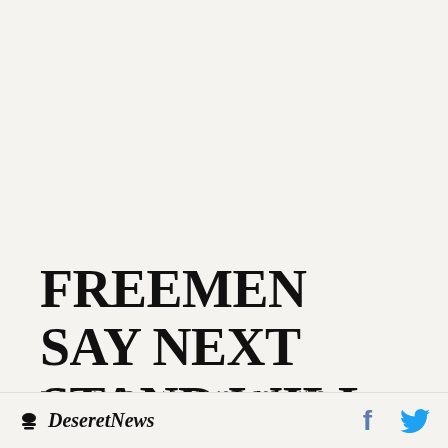FREEMEN SAY NEXT STAND WILL BE IN COURT
By Associated Press | Jun 14, 1996, 6:00am UTC
Deseret News